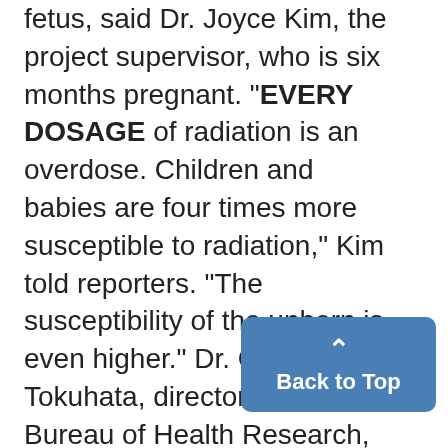fetus, said Dr. Joyce Kim, the project supervisor, who is six months pregnant. "EVERY DOSAGE of radiation is an overdose. Children and babies are four times more susceptible to radiation," Kim told reporters. "The susceptibility of the unborn is even higher." Dr. George Tokuhata, director of the state Bureau of Health Research, downplayed the possible physical effects of the radiation on births. "THE AMOUNT of radiation tha...